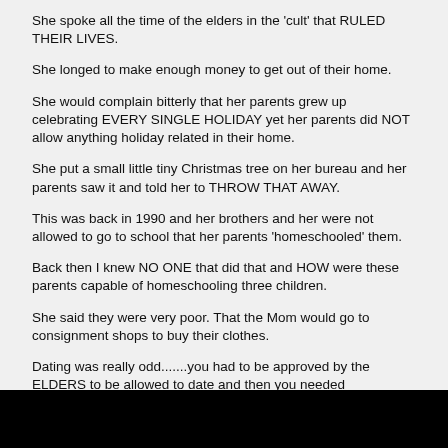She spoke all the time of the elders in the 'cult' that RULED THEIR LIVES.
She longed to make enough money to get out of their home.
She would complain bitterly that her parents grew up celebrating EVERY SINGLE HOLIDAY yet her parents did NOT allow anything holiday related in their home.
She put a small little tiny Christmas tree on her bureau and her parents saw it and told her to THROW THAT AWAY.
This was back in 1990 and her brothers and her were not allowed to go to school that her parents 'homeschooled' them.
Back then I knew NO ONE that did that and HOW were these parents capable of homeschooling three children.
She said they were very poor. That the Mom would go to consignment shops to buy their clothes.
Dating was really odd.......you had to be approved by the ELDERS to be allowed to date and then you needed chaperones.